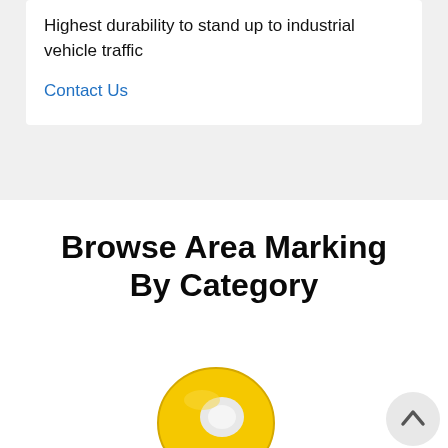Highest durability to stand up to industrial vehicle traffic
Contact Us
Browse Area Marking By Category
[Figure (photo): Yellow roll of floor marking tape]
[Figure (other): Scroll-to-top circular button with upward chevron arrow]